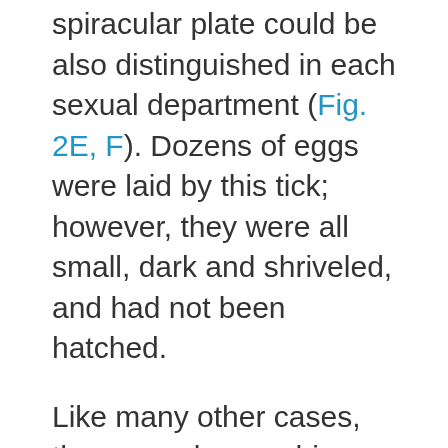spiracular plate could be also distinguished in each sexual department (Fig. 2E, F). Dozens of eggs were laid by this tick; however, they were all small, dark and shriveled, and had not been hatched.
Like many other cases, the gynandromorphic specimen of this report contained both male and female parts, and divided equally in the dorsal